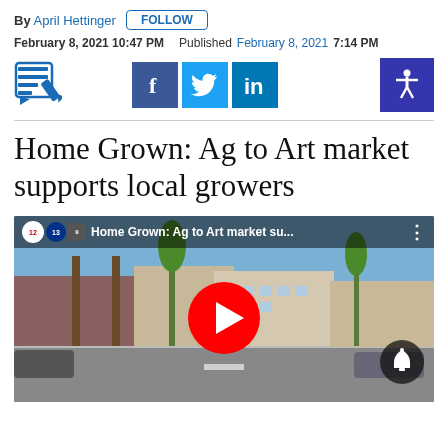By April Hettinger  FOLLOW
February 8, 2021 10:47 PM  Published February 8, 2021  7:14 PM
[Figure (screenshot): Edit/newsletter icon, Facebook, Twitter, LinkedIn social sharing buttons, and accessibility icon]
Home Grown: Ag to Art market supports local growers
[Figure (screenshot): YouTube video thumbnail for 'Home Grown: Ag to Art market su...' showing a street scene with buildings and palm trees, featuring a red YouTube play button in the center and a bell notification icon at bottom right.]